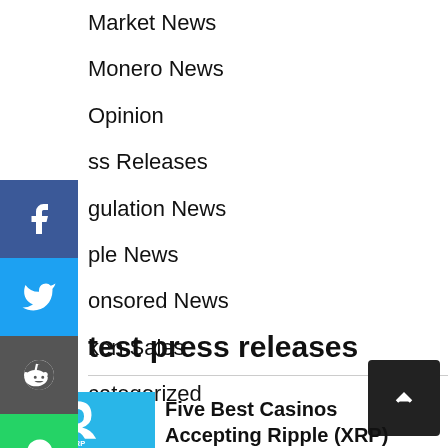Market News
Monero News
Opinion
Press Releases
Regulation News
Ripple News
Sponsored News
Token Sales
Uncategorized
Latest press releases
[Figure (screenshot): XRP Ripple logo on blue background]
Five Best Casinos Accepting Ripple (XRP)